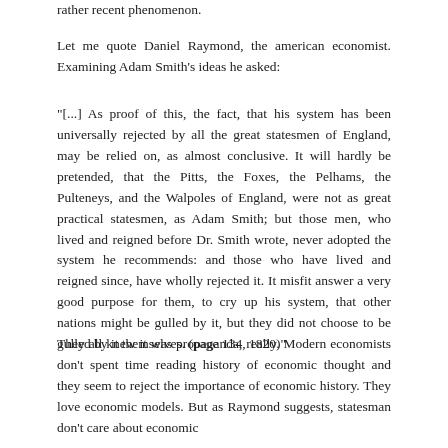rather recent phenomenon.
Let me quote Daniel Raymond, the american economist. Examining Adam Smith's ideas he asked:
"[...] As proof of this, the fact, that his system has been universally rejected by all the great statesmen of England, may be relied on, as almost conclusive. It will hardly be pretended, that the Pitts, the Foxes, the Pelhams, the Pulteneys, and the Walpoles of England, were not as great practical statesmen, as Adam Smith; but those men, who lived and reigned before Dr. Smith wrote, never adopted the system he recommends: and those who have lived and reigned since, have wholly rejected it. It misfit answer a very good purpose for them, to cry up his system, that other nations might be gulled by it, but they did not choose to be gulled by it themselves. (page 134, 1820)"
They all knew it was propaganda, really. Modern economists don't spent time reading history of economic thought and they seem to reject the importance of economic history. They love economic models. But as Raymond suggests, statesman don't care about economic